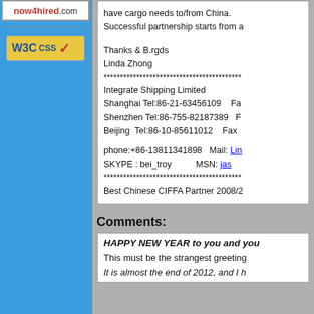[Figure (logo): now4hired.com logo in red bold text]
[Figure (logo): W3C CSS validation badge with yellow background and red checkmark]
have cargo needs to/from China. Successful partnership starts from a...
Thanks & B.rgds
Linda Zhong
*******************************************
Integrate Shipping Limited
Shanghai Tel:86-21-63456109    Fa...
Shenzhen Tel:86-755-82187389   F...
Beijing  Tel:86-10-85611012    Fax...

phone:+86-13811341898    Mail: Lin...
SKYPE : bei_troy              MSN: jas...
*******************************************
Best Chinese CIFFA Partner 2008/2...
Comments:
HAPPY NEW YEAR to you and you...
This must be the strangest greeting...
It is almost the end of 2012, and I h...